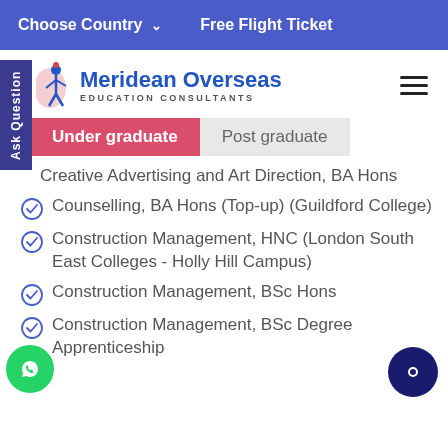Choose Country  ∨    Free Flight Ticket
[Figure (logo): Meridean Overseas Education Consultants logo with figure icon]
Under graduate   Post graduate
Creative Advertising and Art Direction, BA Hons
Counselling, BA Hons (Top-up) (Guildford College)
Construction Management, HNC (London South East Colleges - Holly Hill Campus)
Construction Management, BSc Hons
Construction Management, BSc Degree Apprenticeship